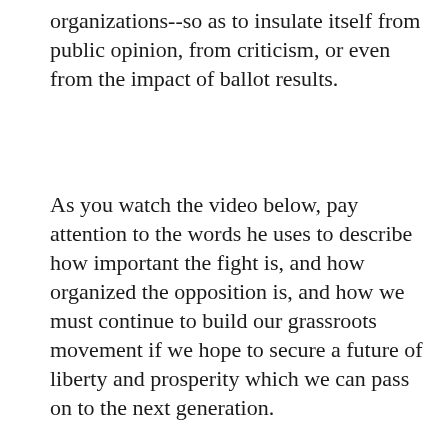organizations--so as to insulate itself from public opinion, from criticism, or even from the impact of ballot results.
As you watch the video below, pay attention to the words he uses to describe how important the fight is, and how organized the opposition is, and how we must continue to build our grassroots movement if we hope to secure a future of liberty and prosperity which we can pass on to the next generation.
[Figure (screenshot): Video thumbnail with blue background showing 'Text of Article V' in italic script, followed by partial text of Article V of the US Constitution, with a play button overlay. Left side shows green/nature imagery, right side shows patriotic imagery.]